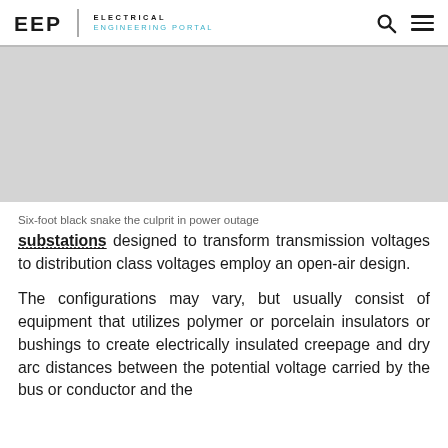EEP | ELECTRICAL ENGINEERING PORTAL
[Figure (photo): Grey placeholder image area for a photo related to substations or power outage]
Six-foot black snake the culprit in power outage
substations designed to transform transmission voltages to distribution class voltages employ an open-air design.
The configurations may vary, but usually consist of equipment that utilizes polymer or porcelain insulators or bushings to create electrically insulated creepage and dry arc distances between the potential voltage carried by the bus or conductor and the